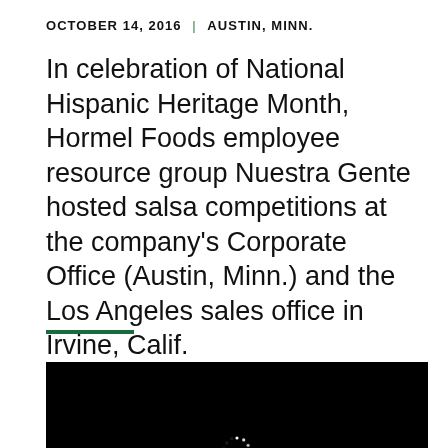OCTOBER 14, 2016  |  AUSTIN, MINN.
In celebration of National Hispanic Heritage Month, Hormel Foods employee resource group Nuestra Gente hosted salsa competitions at the company's Corporate Office (Austin, Minn.) and the Los Angeles sales office in Irvine, Calif.
[Figure (other): Green horizontal rule divider line]
[Figure (photo): Black video player area with white spinning loading indicator in the center]